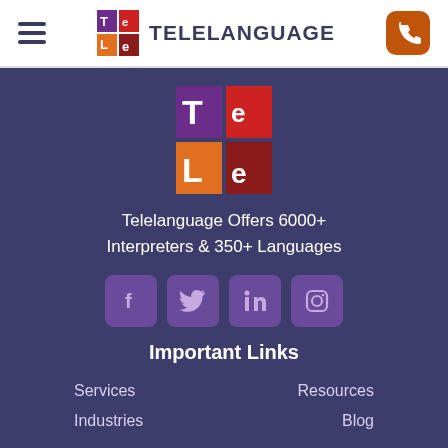TELELANGUAGE
[Figure (logo): Telelanguage logo - colored grid with T, e, L, e letters]
Telelanguage Offers 6000+ Interpreters & 350+ Languages
[Figure (infographic): Social media icons: Facebook, Twitter, LinkedIn, Instagram]
Important Links
Services
Resources
Industries
Blog